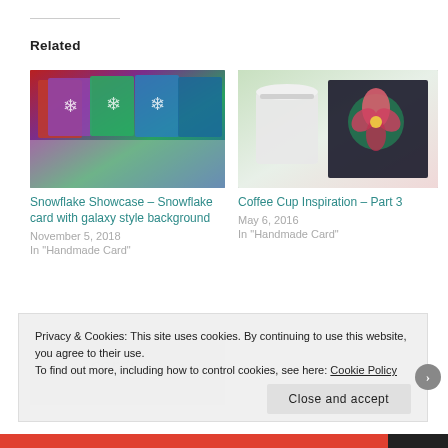Related
[Figure (photo): Colorful snowflake greeting cards with galaxy style backgrounds in red, purple, green, and blue]
Snowflake Showcase – Snowflake card with galaxy style background
November 5, 2018
In "Handmade Card"
[Figure (photo): Coffee cup with poinsettia flower card beside it]
Coffee Cup Inspiration – Part 3
May 6, 2016
In "Handmade Card"
[Figure (photo): Partially visible card image at bottom]
Privacy & Cookies: This site uses cookies. By continuing to use this website, you agree to their use.
To find out more, including how to control cookies, see here: Cookie Policy
Close and accept